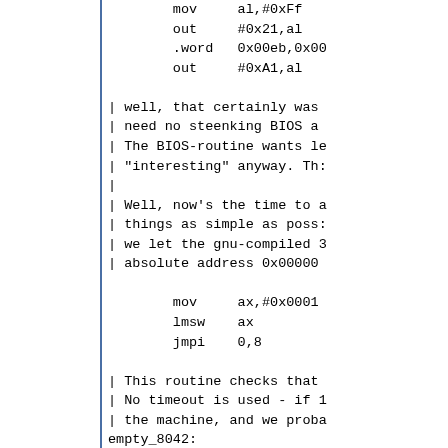Assembly code snippet showing mov, out, .word, out instructions followed by comments about BIOS routines and protected mode switch, then empty_8042 routine and a final comment about loading system.